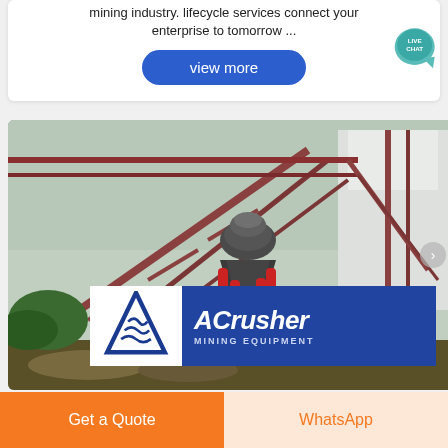mining industry. lifecycle services connect your enterprise to tomorrow ...
view more
[Figure (photo): Mining/quarry facility with large industrial crusher equipment, steel frame conveyor structure, and outdoor setting. ACrusher Mining Equipment logo overlay at bottom.]
Get a Quote
WhatsApp